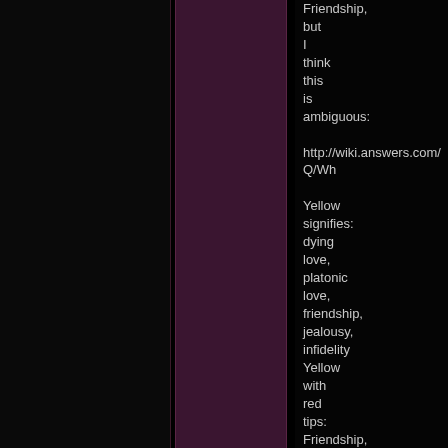Friendship, but I think this is ambiguous:

http://wiki.answers.com/Q/Wh

Yellow signifies: dying love, platonic love, friendship, jealousy, infidelity Yellow with red tips: Friendship, falling in love

According to